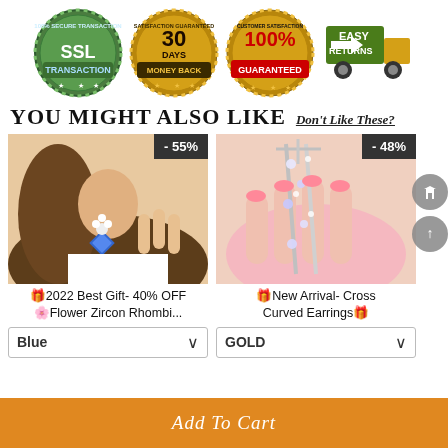[Figure (infographic): Trust badge icons: SSL Transaction badge (green), 30 Days Money Back badge (gold), 100% Customer Satisfaction Guaranteed badge (red/gold), Easy Returns truck icon (green/gold)]
YOU MIGHT ALSO LIKE   Don't Like These?
[Figure (photo): Photo of woman wearing blue flower zircon rhombus earrings, with -55% discount badge]
🎁2022 Best Gift- 40% OFF 🌸Flower Zircon Rhombi...
Blue ∨
[Figure (photo): Photo of silver cross curved earrings held in hand, with -48% discount badge]
🎁New Arrival- Cross Curved Earrings🎁
GOLD ∨
Add To Cart